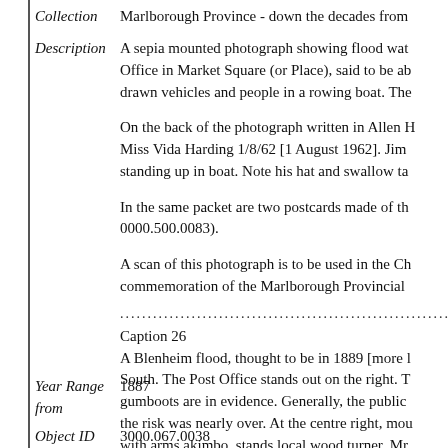Collection   Marlborough Province - down the decades from
Description   A sepia mounted photograph showing flood water in the Post Office in Market Square (or Place), said to be about... drawn vehicles and people in a rowing boat. The...

On the back of the photograph written in Allen H... Miss Vida Harding 1/8/62 [1 August 1962]. Jim... standing up in boat. Note his hat and swallow ta...

In the same packet are two postcards made of th... 0000.500.0083).

A scan of this photograph is to be used in the Ch... commemoration of the Marlborough Provincial

............................................................................
Caption 26
A Blenheim flood, thought to be in 1889 [more l... South. The Post Office stands out on the right. T... gumboots are in evidence. Generally, the public... the risk was nearly over. At the centre right, mou... with arms akimbo, stands local wood turner, Mr
Year Range from   1887
Object ID   3000.067.0038